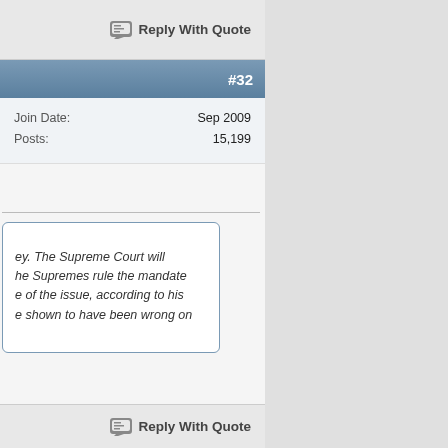Reply With Quote
#32
| Join Date: | Sep 2009 |
| Posts: | 15,199 |
ey. The Supreme Court will he Supremes rule the mandate e of the issue, according to his e shown to have been wrong on
Reply With Quote